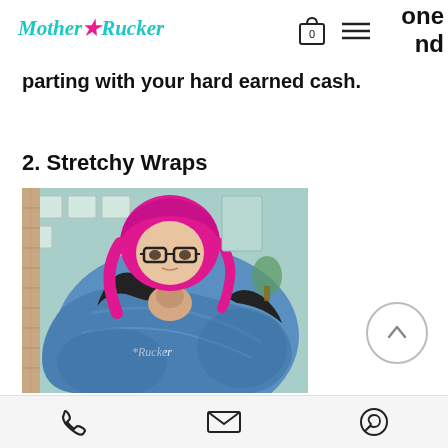Mother★Rucker | one nd
parting with your hard earned cash.
2. Stretchy Wraps
[Figure (photo): Woman with bright pink hair and glasses wearing a blue stretchy wrap carrier with a baby, indoors. The wrap has 'Rucker' text on it.]
The bread and butter of newborn wearing. Stretchy wraps are one long piece of super